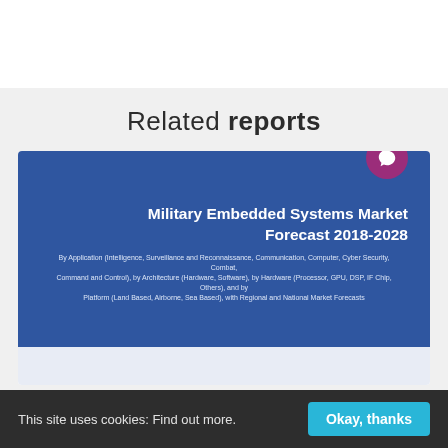Related reports
[Figure (screenshot): Military Embedded Systems Market Forecast 2018-2028 report cover, blue background with white bold title text and subtitle describing application, architecture, hardware, and platform segmentation.]
This site uses cookies: Find out more.